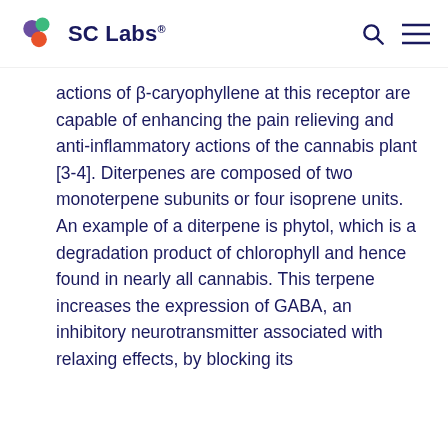SC Labs
actions of β-caryophyllene at this receptor are capable of enhancing the pain relieving and anti-inflammatory actions of the cannabis plant [3-4]. Diterpenes are composed of two monoterpene subunits or four isoprene units. An example of a diterpene is phytol, which is a degradation product of chlorophyll and hence found in nearly all cannabis. This terpene increases the expression of GABA, an inhibitory neurotransmitter associated with relaxing effects, by blocking its